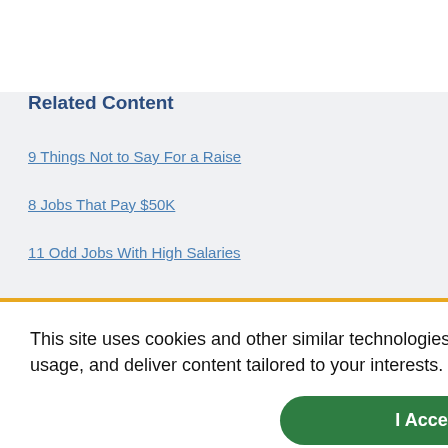Related Content
9 Things Not to Say For a Raise
8 Jobs That Pay $50K
11 Odd Jobs With High Salaries
Looking for More Data?
This site uses cookies and other similar technologies to provide site functionality, analyze traffic and usage, and deliver content tailored to your interests. | Learn More
I Accept